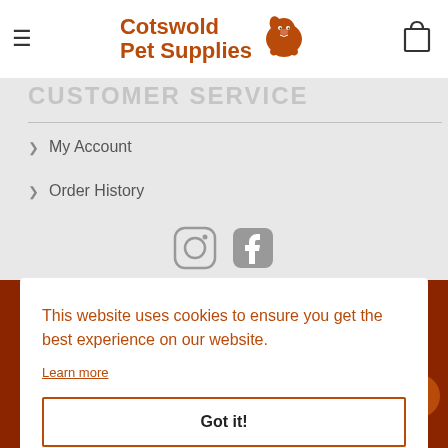Cotswold Pet Supplies
CUSTOMER SERVICE
My Account
Order History
[Figure (illustration): Instagram and Facebook social media icons in grey]
This website uses cookies to ensure you get the best experience on our website.
Learn more
Got it!
Login   Register   Wishlist   Contact   Call us